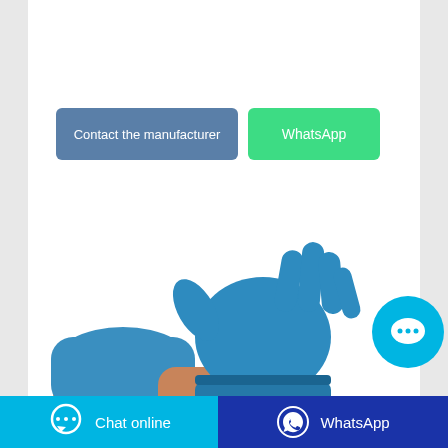[Figure (other): Two buttons: 'Contact the manufacturer' (blue-grey) and 'WhatsApp' (green)]
[Figure (photo): Hands putting on blue nitrile medical/examination gloves on white background]
[Figure (other): Circular cyan chat bubble button with three dots icon]
[Figure (other): Bottom bar with 'Chat online' button (cyan) and 'WhatsApp' button (dark blue)]